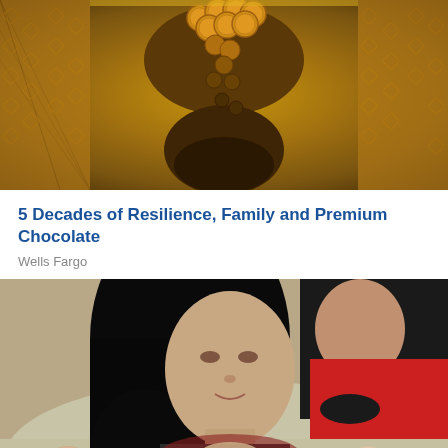[Figure (photo): Close-up overhead view of chocolate coins or cocoa beans being processed through golden metallic mesh/sieve equipment in a chocolate factory]
5 Decades of Resilience, Family and Premium Chocolate
Wells Fargo
[Figure (photo): A dark-haired woman smiling while holding multiple newborn babies, with another person visible in the background wearing a red top]